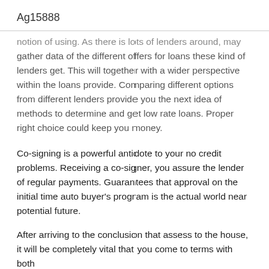Ag15888
notion of using. As there is lots of lenders around, may gather data of the different offers for loans these kind of lenders get. This will together with a wider perspective within the loans provide. Comparing different options from different lenders provide you the next idea of methods to determine and get low rate loans. Proper right choice could keep you money.
Co-signing is a powerful antidote to your no credit problems. Receiving a co-signer, you assure the lender of regular payments. Guarantees that approval on the initial time auto buyer's program is the actual world near potential future.
After arriving to the conclusion that assess to the house, it will be completely vital that you come to terms with both